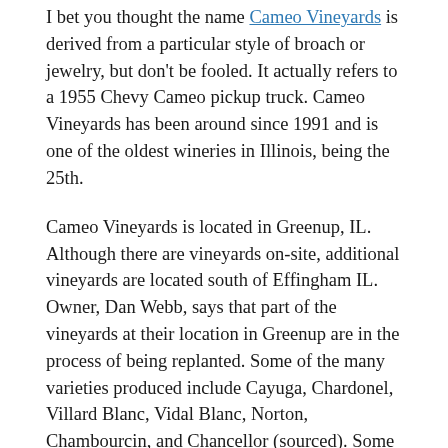I bet you thought the name Cameo Vineyards is derived from a particular style of broach or jewelry, but don't be fooled.  It actually refers to a 1955 Chevy Cameo pickup truck.  Cameo Vineyards has been around since 1991 and is one of the oldest wineries in Illinois, being the 25th.
Cameo Vineyards is located in Greenup, IL.  Although there are vineyards on-site, additional vineyards are located south of Effingham IL.  Owner, Dan Webb, says that part of the vineyards at their location in Greenup are in the process of being replanted. Some of the many varieties produced include Cayuga, Chardonel, Villard Blanc, Vidal Blanc, Norton, Chambourcin, and Chancellor (sourced).  Some of the other fruits used in production are sourced from around Illinois and Michigan.